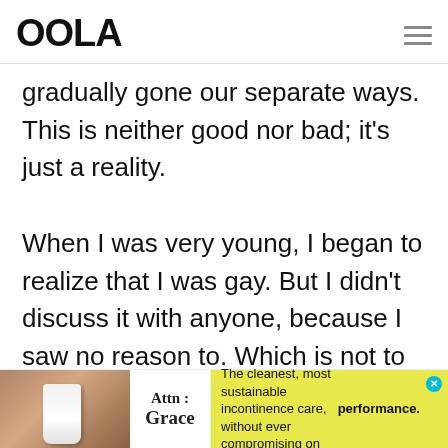OOLA
gradually gone our separate ways. This is neither good nor bad; it's just a reality.
When I was very young, I began to realize that I was gay. But I didn't discuss it with anyone, because I saw no reason to. Which is not to
[Figure (other): Advertisement banner for Attn: Grace incontinence care product. Shows product image, brand name 'Attn: Grace', and text 'The cleanest, most sustainable incontinence care, without ever compromising on performance.' on yellow background.]